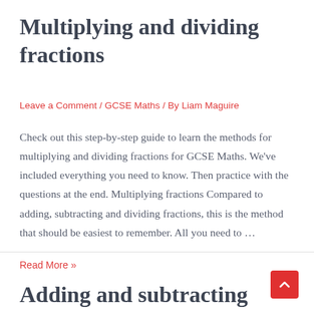Multiplying and dividing fractions
Leave a Comment / GCSE Maths / By Liam Maguire
Check out this step-by-step guide to learn the methods for multiplying and dividing fractions for GCSE Maths. We've included everything you need to know. Then practice with the questions at the end. Multiplying fractions Compared to adding, subtracting and dividing fractions, this is the method that should be easiest to remember. All you need to …
Read More »
Adding and subtracting